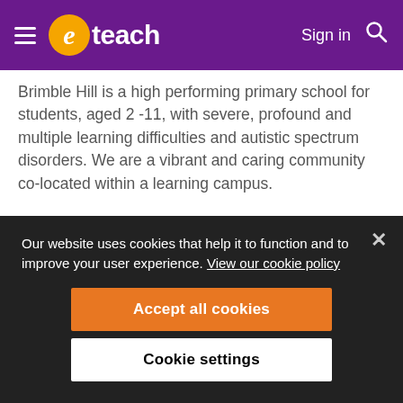eteach — Sign in
Brimble Hill is a high performing primary school for students, aged 2 -11, with severe, profound and multiple learning difficulties and autistic spectrum disorders. We are a vibrant and caring community co-located within a learning campus.
We offer the opportunity to join a supportive team which actively encourages and supports our employees to gain the skills and
Our website uses cookies that help it to function and to improve your user experience. View our cookie policy
Accept all cookies
Cookie settings